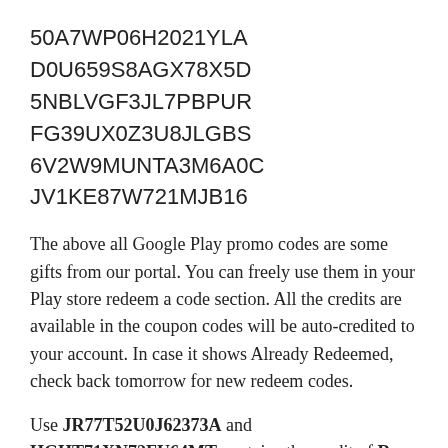50A7WP06H2021YLA
D0U659S8AGX78X5D
5NBLVGF3JL7PBPUR
FG39UX0Z3U8JLGBS
6V2W9MUNTA3M6A0C
JV1KE87W721MJB16
The above all Google Play promo codes are some gifts from our portal. You can freely use them in your Play store redeem a code section. All the credits are available in the coupon codes will be auto-credited to your account. In case it shows Already Redeemed, check back tomorrow for new redeem codes.
Use JR77T52U0J62373A and HGHT71XN72FU64MT contains the credit of Rs 1000 So at least Rs 100 Promo code